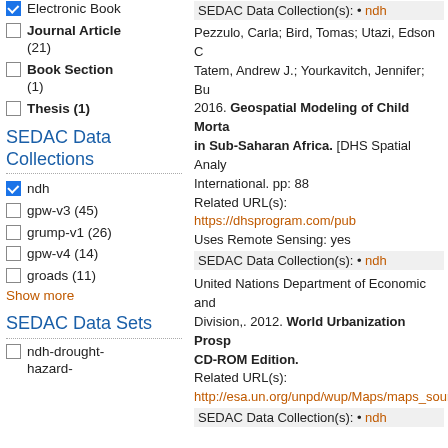Electronic Book (checked)
Journal Article (21)
Book Section (1)
Thesis (1)
SEDAC Data Collections
ndh (checked)
gpw-v3 (45)
grump-v1 (26)
gpw-v4 (14)
groads (11)
Show more
SEDAC Data Sets
ndh-drought-hazard-
SEDAC Data Collection(s): • ndh
Pezzulo, Carla; Bird, Tomas; Utazi, Edson C; Tatem, Andrew J.; Yourkavitch, Jennifer; Bu 2016. Geospatial Modeling of Child Morta in Sub-Saharan Africa. [DHS Spatial Analy International. pp: 88
Related URL(s): https://dhsprogram.com/pub
Uses Remote Sensing: yes
SEDAC Data Collection(s): • ndh
United Nations Department of Economic and Division,. 2012. World Urbanization Prosp CD-ROM Edition.
Related URL(s): http://esa.un.org/unpd/wup/Maps/maps_sour
SEDAC Data Collection(s): • ndh